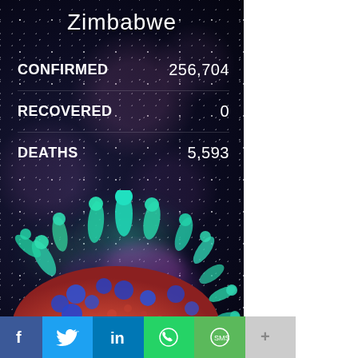Zimbabwe
CONFIRMED    256,704
RECOVERED    0
DEATHS    5,593
[Figure (photo): 3D rendered coronavirus particle with teal/green spike proteins and blue and orange surface proteins against dark background]
[Figure (infographic): Social media sharing bar with Facebook, Twitter, LinkedIn, WhatsApp, SMS, and more buttons]